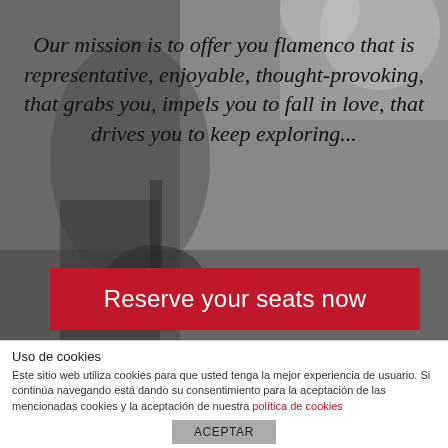[Figure (photo): Grayscale background photo of a flamenco guitarist performing on stage]
Our mission is to offer you flamenco that is representative, enjoyable, thought-provoking, that grabs you, impels you to fall in love, that drives you to keep exploring...
Reserve your seats now
Uso de cookies
Este sitio web utiliza cookies para que usted tenga la mejor experiencia de usuario. Si continúa navegando está dando su consentimiento para la aceptación de las mencionadas cookies y la aceptación de nuestra política de cookies
ACEPTAR